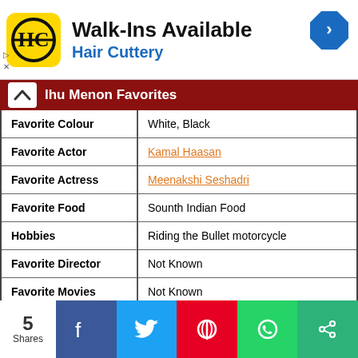[Figure (other): Hair Cuttery advertisement banner with HC logo, 'Walk-Ins Available' text, 'Hair Cuttery' subtitle, and a navigation arrow icon]
| Category | Value |
| --- | --- |
| Favorite Colour | White, Black |
| Favorite Actor | Kamal Haasan |
| Favorite Actress | Meenakshi Seshadri |
| Favorite Food | Sounth Indian Food |
| Hobbies | Riding the Bullet motorcycle |
| Favorite Director | Not Known |
| Favorite Movies | Not Known |
| Favorite Cricketer | Sreesanth |
| Favorite Destination | Not Known |
5 Shares